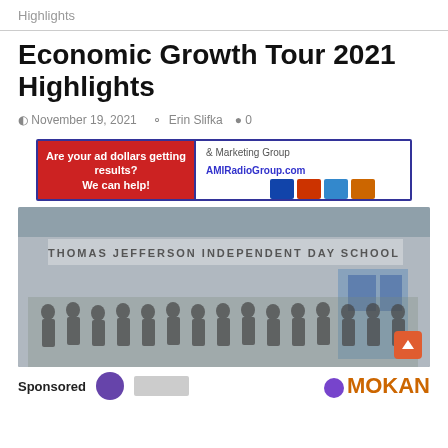Highlights
Economic Growth Tour 2021 Highlights
November 19, 2021  Erin Slifka  0
[Figure (photo): AMI Radio & Marketing Group advertisement banner. Left side has red background with white text 'Are your ad dollars getting results? We can help!' Right side shows AMI Radio & Marketing Group logo, AMIRadioGroup.com URL, and various radio station logos.]
[Figure (photo): Group photo of approximately 40 people standing in front of Thomas Jefferson Independent Day School building exterior.]
Sponsored